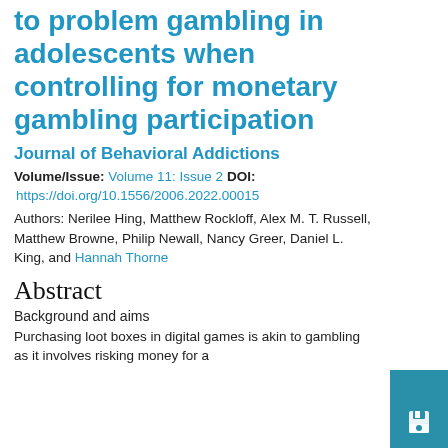to problem gambling in adolescents when controlling for monetary gambling participation
Journal of Behavioral Addictions
Volume/Issue: Volume 11: Issue 2 DOI:
https://doi.org/10.1556/2006.2022.00015
Authors: Nerilee Hing, Matthew Rockloff, Alex M. T. Russell, Matthew Browne, Philip Newall, Nancy Greer, Daniel L. King, and Hannah Thorne
Abstract
Background and aims
Purchasing loot boxes in digital games is akin to gambling as it involves risking money for a